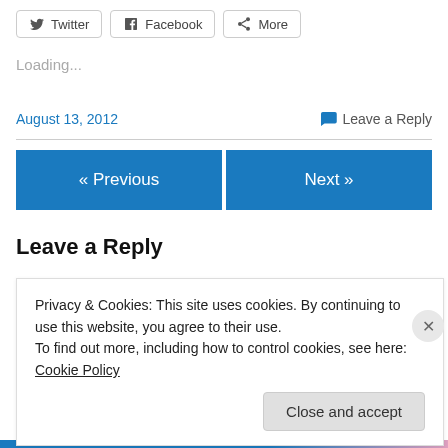[Figure (screenshot): Social share buttons: Twitter, Facebook, More]
Loading...
August 13, 2012   Leave a Reply
[Figure (screenshot): Navigation buttons: « Previous and Next »]
Leave a Reply
Privacy & Cookies: This site uses cookies. By continuing to use this website, you agree to their use.
To find out more, including how to control cookies, see here: Cookie Policy